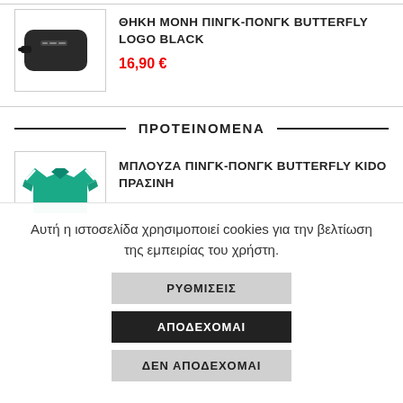[Figure (photo): Product image of a black ping-pong bat case with Butterfly logo]
ΘΗΚΗ ΜΟΝΗ ΠΙΝΓΚ-ΠΟΝΓΚ BUTTERFLY LOGO BLACK
16,90 €
ΠΡΟΤΕΙΝΟΜΕΝΑ
[Figure (photo): Product image of a teal/green Butterfly Kido ping-pong shirt]
ΜΠΛΟΥΖΑ ΠΙΝΓΚ-ΠΟΝΓΚ BUTTERFLY KIDO ΠΡΑΣΙΝΗ
Αυτή η ιστοσελίδα χρησιμοποιεί cookies για την βελτίωση της εμπειρίας του χρήστη.
ΡΥΘΜΙΣΕΙΣ
ΑΠΟΔΕΧΟΜΑΙ
ΔΕΝ ΑΠΟΔΕΧΟΜΑΙ